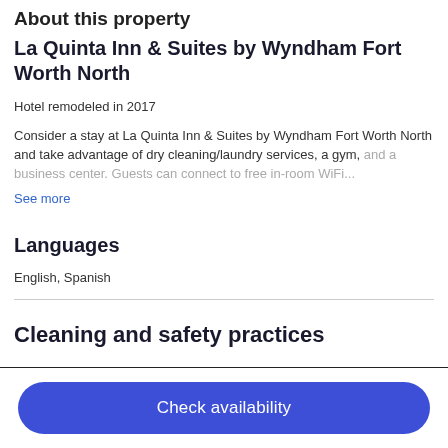About this property
La Quinta Inn & Suites by Wyndham Fort Worth North
Hotel remodeled in 2017
Consider a stay at La Quinta Inn & Suites by Wyndham Fort Worth North and take advantage of dry cleaning/laundry services, a gym, and a business center. Guests can connect to free in-room WiFi...
See more
Languages
English, Spanish
Cleaning and safety practices
Check availability